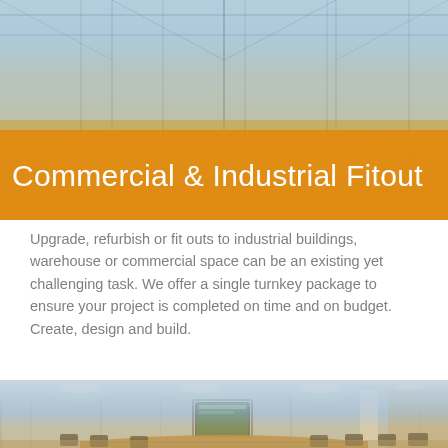[Figure (photo): Industrial warehouse or large building interior with high ceilings, steel structure visible, orange/amber tinted overlay at bottom showing 'Commercial & Industrial Fitout' title]
Commercial & Industrial Fitout
Upgrade, refurbish or fit outs to industrial buildings, warehouse or commercial space can be an existing yet challenging task. We offer a single turnkey package to ensure your project is completed on time and on budget.  Create, design and build.
[Figure (photo): Modern office meeting room with conference table, black chairs, ceiling lights, glass partition walls, and a TV/monitor screen at the far end]